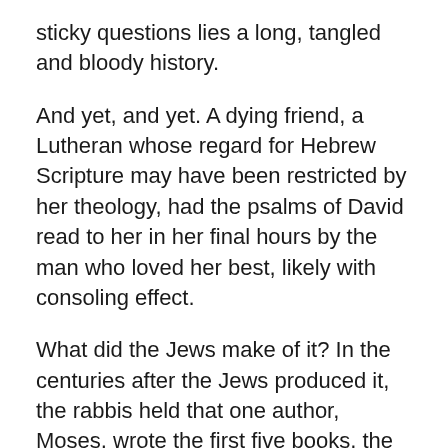sticky questions lies a long, tangled and bloody history.
And yet, and yet. A dying friend, a Lutheran whose regard for Hebrew Scripture may have been restricted by her theology, had the psalms of David read to her in her final hours by the man who loved her best, likely with consoling effect.
What did the Jews make of it? In the centuries after the Jews produced it, the rabbis held that one author, Moses, wrote the first five books, the Pentateuch or Torah, with his own hand. In the nineteenth century, the German scholar Julius Wellhausen found four different sources for the Pentateuch: J, E, P and D. Never mind what those letters stand for and what his reasoning was. The documentary hypothesis, as it is called, doesn’t settle the question, are these different editorial strands carrying true reports? Are